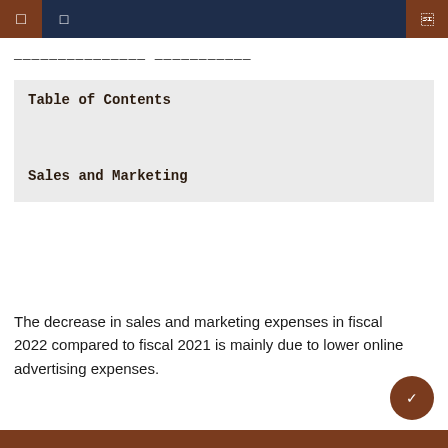——————————————— ———————————
Table of Contents
Sales and Marketing
The decrease in sales and marketing expenses in fiscal 2022 compared to fiscal 2021 is mainly due to lower online advertising expenses.